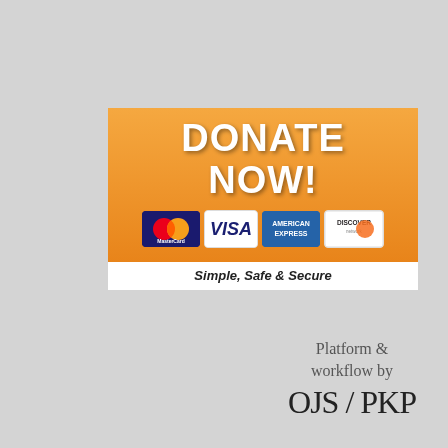[Figure (infographic): Donate Now button graphic with MasterCard, Visa, American Express, and Discover card logos, orange background with white bold text 'DONATE NOW!' and tagline 'Simple, Safe & Secure']
Platform &
workflow by
OJS / PKP